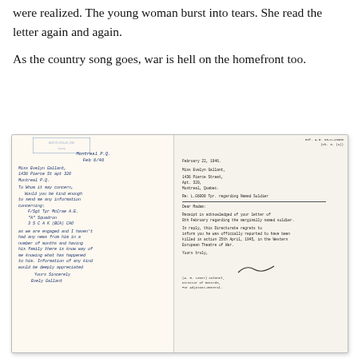were realized. The young woman burst into tears. She read the letter again and again.
As the country song goes, war is hell on the homefront too.
[Figure (photo): Two historical documents side by side: on the left, a handwritten letter in blue ink dated Montreal P.Q., Feb 6/46, from Miss Evelyn Gallant inquiring about F/Sgt Tpr. McCrae A.E., 'A' Squadron, 3 S.C.A.K (BCA) CAO, signed Evely Gallant; on the right, a typed official response letter dated February 22, 1946, with reference Ref. A.G. 80-C-43306 (Ch. 3. (a)), addressed to Miss Evelyn Gallant, 1436 Pierce Street, Apt. 320, Montreal, Quebec, regarding L.G6008 Tpr. regarding missing named soldier, signed by A.G. Leaser Colonel, Director of Records, for Adjutant-General.]